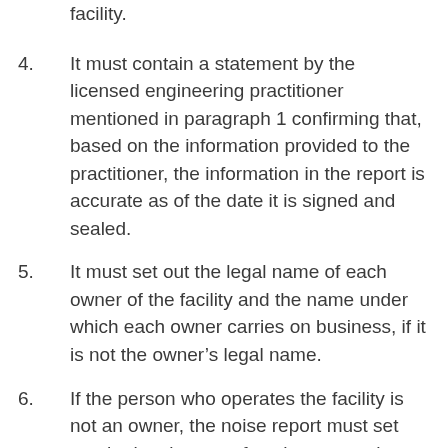facility.
4. It must contain a statement by the licensed engineering practitioner mentioned in paragraph 1 confirming that, based on the information provided to the practitioner, the information in the report is accurate as of the date it is signed and sealed.
5. It must set out the legal name of each owner of the facility and the name under which each owner carries on business, if it is not the owner’s legal name.
6. If the person who operates the facility is not an owner, the noise report must set out the legal name of each person who operates the facility and the name under which each